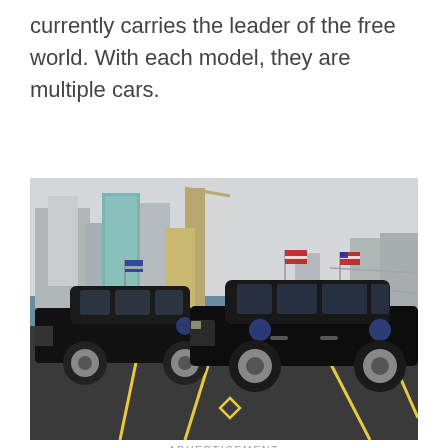currently carries the leader of the free world. With each model, they are multiple cars.
[Figure (photo): Two black presidential limousines (Cadillac 'The Beast') parked side by side on a waterfront tarmac, with American flags and presidential seals on the hoods. City skyline and bridge visible in the background under an overcast sky.]
ADVERTISEMENT